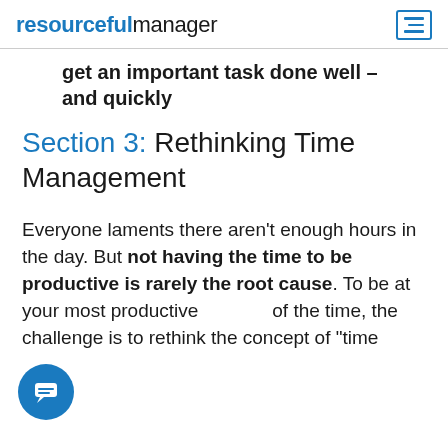resourcefulmanager
get an important task done well – and quickly
Section 3: Rethinking Time Management
Everyone laments there aren't enough hours in the day. But not having the time to be productive is rarely the root cause. To be at your most productive of the time, the challenge is to rethink the concept of "time